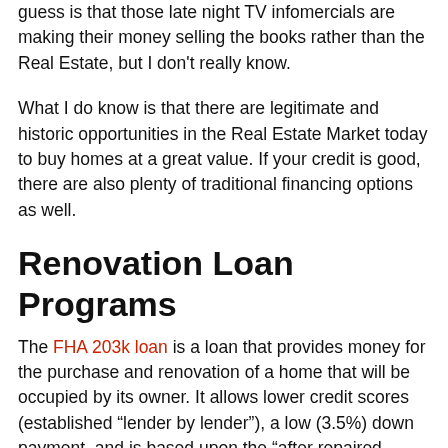guess is that those late night TV infomercials are making their money selling the books rather than the Real Estate, but I don't really know.
What I do know is that there are legitimate and historic opportunities in the Real Estate Market today to buy homes at a great value. If your credit is good, there are also plenty of traditional financing options as well.
Renovation Loan Programs
The FHA 203k loan is a loan that provides money for the purchase and renovation of a home that will be occupied by its owner. It allows lower credit scores (established “lender by lender”), a low (3.5%) down payment, and is based upon the “after repaired value” of the home.
So – you don’t want to live in the home? You want to buy and fix up a home for rental or to turn around and resell it for profit? No problem! The Fannie Mae Homestyle